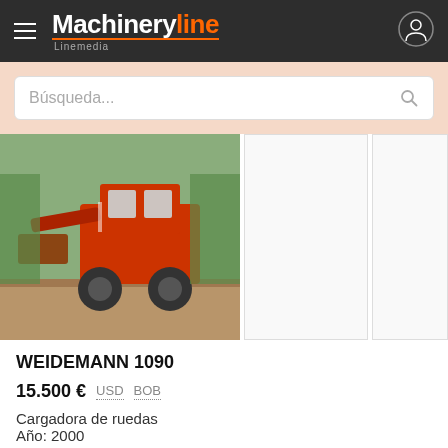Machineryline Linemedia
Búsqueda...
[Figure (photo): Red wheel loader (WEIDEMANN 1090) parked on a brick surface with greenery in background]
WEIDEMANN 1090
15.500 € USD BOB
Cargadora de ruedas
Año: 2000
Países Bajos, Hapert